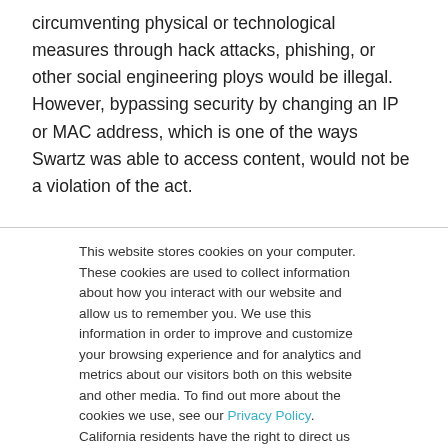circumventing physical or technological measures through hack attacks, phishing, or other social engineering ploys would be illegal. However, bypassing security by changing an IP or MAC address, which is one of the ways Swartz was able to access content, would not be a violation of the act.

The new bill also would also limit the penalties and prison time
This website stores cookies on your computer. These cookies are used to collect information about how you interact with our website and allow us to remember you. We use this information in order to improve and customize your browsing experience and for analytics and metrics about our visitors both on this website and other media. To find out more about the cookies we use, see our Privacy Policy. California residents have the right to direct us not to sell their personal information to third parties by filing an Opt-Out Request: Do Not Sell My Personal Info.
Accept